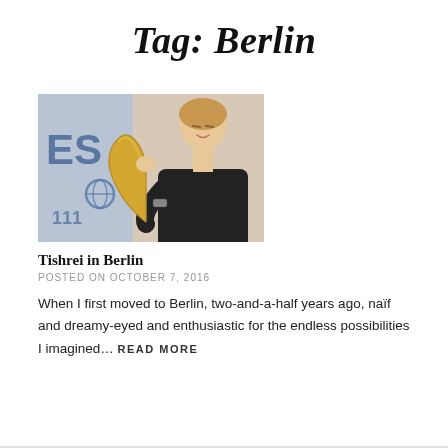Tag: Berlin
[Figure (photo): A woman blowing a shofar (ram's horn) at what appears to be a conference event, with partial text 'ES' and '111' visible on a banner behind her.]
Tishrei in Berlin
POSTED ON OCTOBER 7, 2016
When I first moved to Berlin, two-and-a-half years ago, naïf and dreamy-eyed and enthusiastic for the endless possibilities I imagined… READ MORE